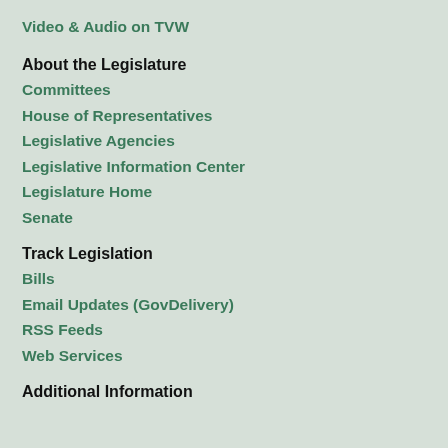Video & Audio on TVW
About the Legislature
Committees
House of Representatives
Legislative Agencies
Legislative Information Center
Legislature Home
Senate
Track Legislation
Bills
Email Updates (GovDelivery)
RSS Feeds
Web Services
Additional Information